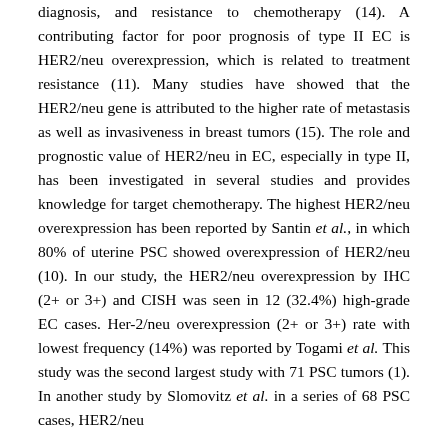diagnosis, and resistance to chemotherapy (14). A contributing factor for poor prognosis of type II EC is HER2/neu overexpression, which is related to treatment resistance (11). Many studies have showed that the HER2/neu gene is attributed to the higher rate of metastasis as well as invasiveness in breast tumors (15). The role and prognostic value of HER2/neu in EC, especially in type II, has been investigated in several studies and provides knowledge for target chemotherapy. The highest HER2/neu overexpression has been reported by Santin et al., in which 80% of uterine PSC showed overexpression of HER2/neu (10). In our study, the HER2/neu overexpression by IHC (2+ or 3+) and CISH was seen in 12 (32.4%) high-grade EC cases. Her-2/neu overexpression (2+ or 3+) rate with lowest frequency (14%) was reported by Togami et al. This study was the second largest study with 71 PSC tumors (1). In another study by Slomovitz et al. in a series of 68 PSC cases, HER2/neu